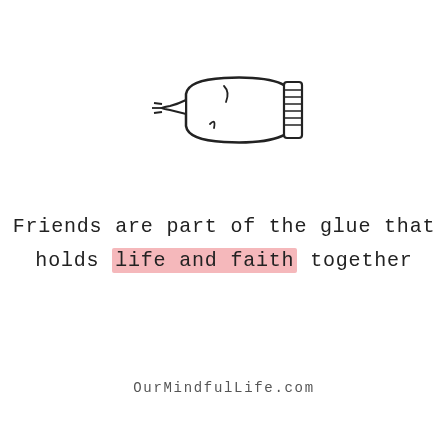[Figure (illustration): Hand-drawn illustration of a glue tube lying on its side, with a nozzle on the left and a ridged cap on the right, squeeze lines on the body]
Friends are part of the glue that holds life and faith together
OurMindfulLife.com